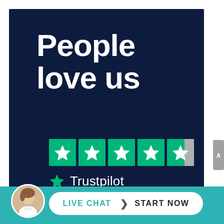[Figure (infographic): Dark navy blue box with large white bold text 'People love us', followed by 4.5 Trustpilot green star rating icons, and the Trustpilot logo with green star and white text on navy background.]
[Figure (illustration): Live chat call-to-action bar in teal with a circular avatar photo of a woman with headset, and a white pill-shaped button reading 'LIVE CHAT > START NOW'. Scrollbar arrow visible on right side.]